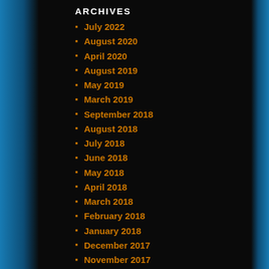ARCHIVES
July 2022
August 2020
April 2020
August 2019
May 2019
March 2019
September 2018
August 2018
July 2018
June 2018
May 2018
April 2018
March 2018
February 2018
January 2018
December 2017
November 2017
September 2017
August 2017
January 2017